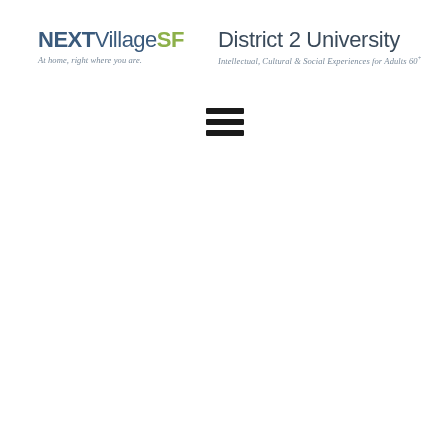[Figure (logo): NEXTVillageSF logo with tagline 'At home, right where you are.' on the left, and District 2 University logo with tagline 'Intellectual, Cultural & Social Experiences for Adults 60+' on the right]
[Figure (other): Hamburger menu icon (three horizontal bars)]